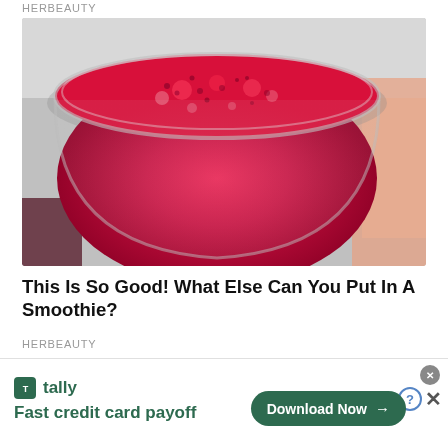HERBEAUTY
[Figure (photo): Close-up top view of a bright red/pink berry smoothie in a glass jar, with visible bubbles and seeds on the surface. Pomegranate or red fruits visible in background.]
This Is So Good! What Else Can You Put In A Smoothie?
HERBEAUTY
[Figure (photo): Partially visible image below, cropped at bottom of page.]
[Figure (infographic): Tally app advertisement banner: tally logo with green square icon, text 'tally' and 'Fast credit card payoff', with a green 'Download Now' button with arrow. Close/question mark buttons in upper right corner.]